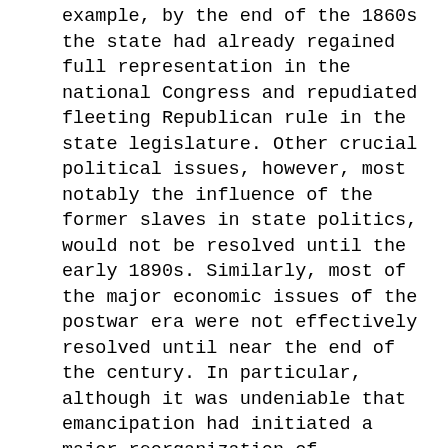example, by the end of the 1860s the state had already regained full representation in the national Congress and repudiated fleeting Republican rule in the state legislature. Other crucial political issues, however, most notably the influence of the former slaves in state politics, would not be resolved until the early 1890s. Similarly, most of the major economic issues of the postwar era were not effectively resolved until near the end of the century. In particular, although it was undeniable that emancipation had initiated a major reorganization of agriculture across much the state, even as late as 1877 it was not yet certain what sort of new land and labor arrangements would come to predominate. In sum, to its very close the Reconstruction period was characterized by considerable uncertainty for Tennesseans of both races.